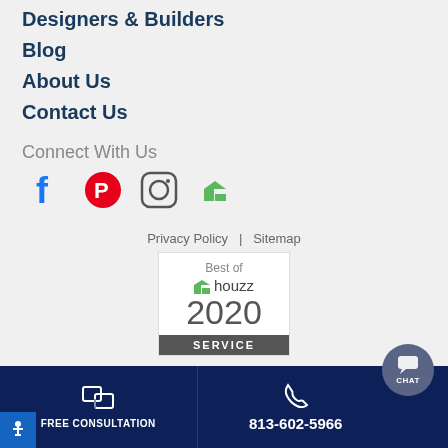Designers & Builders
Blog
About Us
Contact Us
Connect With Us
[Figure (other): Social media icons: Facebook, Pinterest, Instagram, Houzz]
Privacy Policy   Sitemap
[Figure (logo): Best of Houzz 2020 SERVICE badge]
FREE CONSULTATION   813-602-5966   CHAT